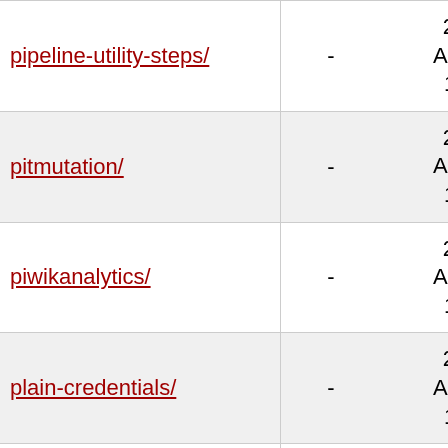| Name | Size | Date |
| --- | --- | --- |
| pipeline-utility-steps/ | - | 2022-Apr-22 16:13 |
| pitmutation/ | - | 2022-Apr-22 16:13 |
| piwikanalytics/ | - | 2022-Apr-22 16:13 |
| plain-credentials/ | - | 2022-Apr-22 16:13 |
| plasticscm-mergebot/ | - | 2022-Apr-22 16:13 |
| plasticscm-plugin/ | - | 2022-Apr-22 16:13 |
| platformlabeler/ | - | 2022-Apr-22 16:13 |
| play-autotest-plugin/ | - | 2022-Apr-22 |